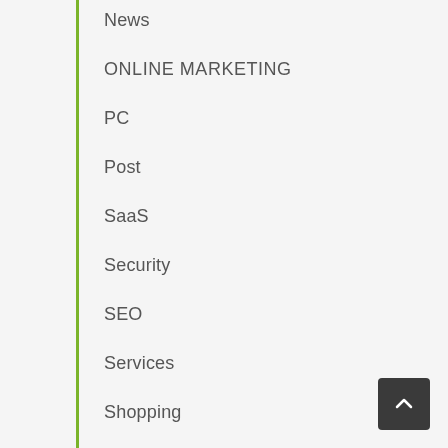News
ONLINE MARKETING
PC
Post
SaaS
Security
SEO
Services
Shopping
SMARTPHONE REVIEWS